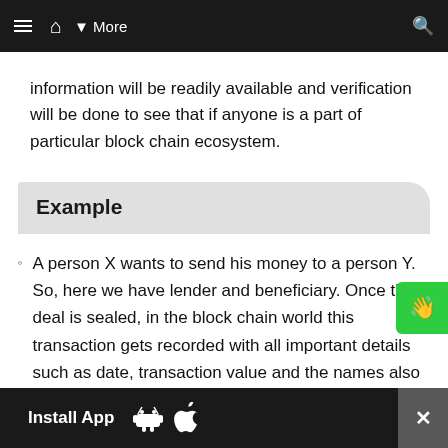≡  🏠  ▾ More  🔍
information will be readily available and verification will be done to see that if anyone is a part of particular block chain ecosystem.
Example
A person X wants to send his money to a person Y. So, here we have lender and beneficiary. Once the deal is sealed, in the block chain world this transaction gets recorded with all important details such as date, transaction value and the names also will be recorded. Next time when they want to repeat the process they wouldn't face any problems as their data
Install App  [Android]  [Apple]  ✕